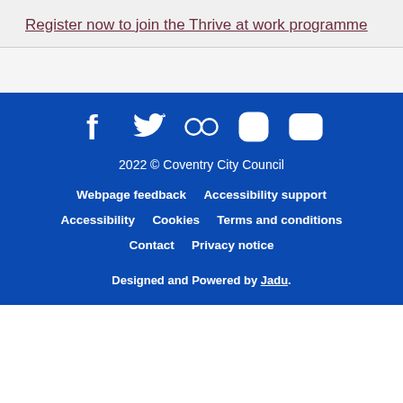Register now to join the Thrive at work programme
[Figure (illustration): Social media icons row: Facebook, Twitter, Flickr, Instagram, YouTube — white icons on blue background]
2022 © Coventry City Council
Webpage feedback   Accessibility support   Accessibility   Cookies   Terms and conditions   Contact   Privacy notice   Designed and Powered by Jadu.